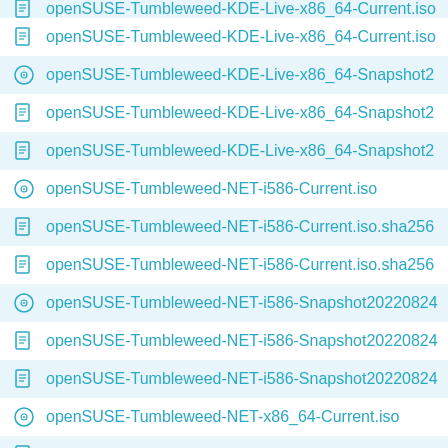openSUSE-Tumbleweed-KDE-Live-x86_64-Current.iso
openSUSE-Tumbleweed-KDE-Live-x86_64-Snapshot2...
openSUSE-Tumbleweed-KDE-Live-x86_64-Snapshot2...
openSUSE-Tumbleweed-KDE-Live-x86_64-Snapshot2...
openSUSE-Tumbleweed-NET-i586-Current.iso
openSUSE-Tumbleweed-NET-i586-Current.iso.sha256
openSUSE-Tumbleweed-NET-i586-Current.iso.sha256
openSUSE-Tumbleweed-NET-i586-Snapshot20220824
openSUSE-Tumbleweed-NET-i586-Snapshot20220824
openSUSE-Tumbleweed-NET-i586-Snapshot20220824
openSUSE-Tumbleweed-NET-x86_64-Current.iso
openSUSE-Tumbleweed-NET-x86_64-Current.iso.sha2...
openSUSE-Tumbleweed-NET-x86_64-Current.iso.sha...